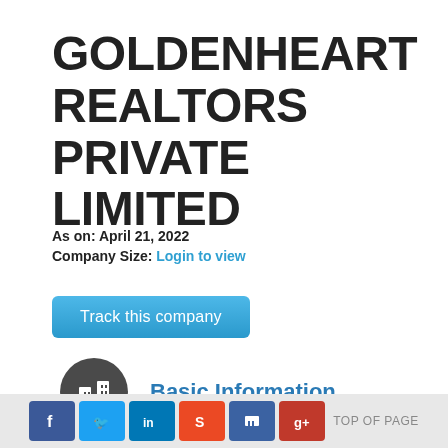GOLDENHEART REALTORS PRIVATE LIMITED
As on: April 21, 2022
Company Size: Login to view
Track this company
Basic Information
Documents
TOP OF PAGE